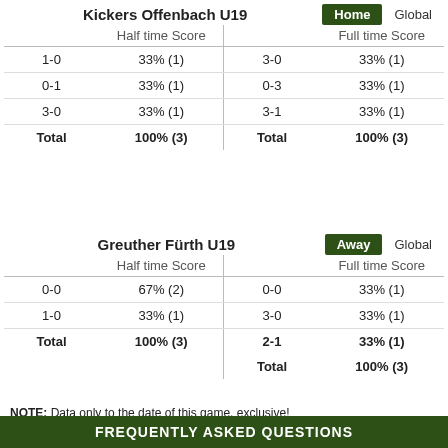Kickers Offenbach U19
| Half time Score |  | Full time Score |  |
| --- | --- | --- | --- |
| 1-0 | 33% (1) | 3-0 | 33% (1) |
| 0-1 | 33% (1) | 0-3 | 33% (1) |
| 3-0 | 33% (1) | 3-1 | 33% (1) |
| Total | 100% (3) | Total | 100% (3) |
Greuther Fürth U19
| Half time Score |  | Full time Score |  |
| --- | --- | --- | --- |
| 0-0 | 67% (2) | 0-0 | 33% (1) |
| 1-0 | 33% (1) | 3-0 | 33% (1) |
| Total | 100% (3) | 2-1 | 33% (1) |
|  |  | Total | 100% (3) |
NOTE: Data only to the date of this game, exclusive!
FREQUENTLY ASKED QUESTIONS